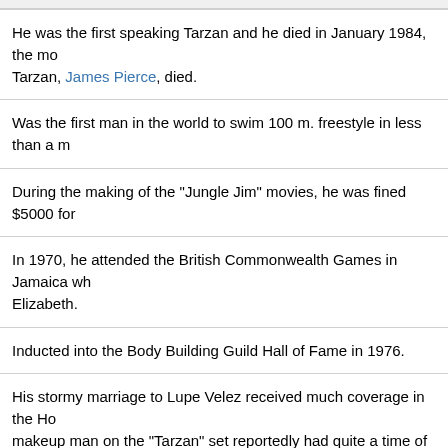He was the first speaking Tarzan and he died in January 1984, the mo... Tarzan, James Pierce, died.
Was the first man in the world to swim 100 m. freestyle in less than a m...
During the making of the "Jungle Jim" movies, he was fined $5000 for...
In 1970, he attended the British Commonwealth Games in Jamaica wh... Elizabeth.
Inducted into the Body Building Guild Hall of Fame in 1976.
His stormy marriage to Lupe Velez received much coverage in the Hol... makeup man on the "Tarzan" set reportedly had quite a time of it conc... scratch marks on Weissmuller due to the pair's many fights. Johnny t... after an argument in which she admitted to killing his dog; he killed her... which Lupe acquired during her relationship with Gary Cooper, would o...
Moved to Las Vegas from Florida in 1973 where he was a greeter at th...
In 1974, he broke a hip and leg. While hospitalized he learned that, in... daily regimen of swimming and exercise, he had a serious heart condi...
Made a cameo appearance with former "Tarzan" co-star Maureen O'S...